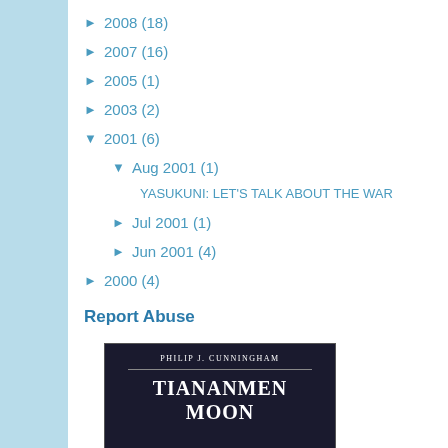► 2008 (18)
► 2007 (16)
► 2005 (1)
► 2003 (2)
▼ 2001 (6)
▼ Aug 2001 (1)
YASUKUNI: LET'S TALK ABOUT THE WAR
► Jul 2001 (1)
► Jun 2001 (4)
► 2000 (4)
Report Abuse
[Figure (photo): Book cover: Philip J. Cunningham - Tiananmen Moon, dark background with white text]